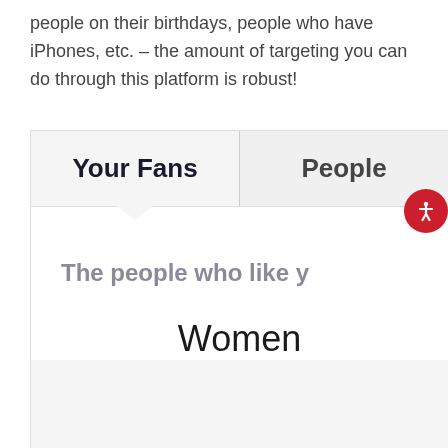people on their birthdays, people who have iPhones, etc. – the amount of targeting you can do through this platform is robust!
[Figure (screenshot): Screenshot of a Facebook Audience Insights interface showing two tabs: 'Your Fans' (active/selected) and 'People' (partially visible). Below the tabs is a content area with the subheading 'The people who like y[our Page]' and a demographic breakdown showing 'Women'. An accessibility icon button (red circle with white person icon) appears in the top-right of the content area.]